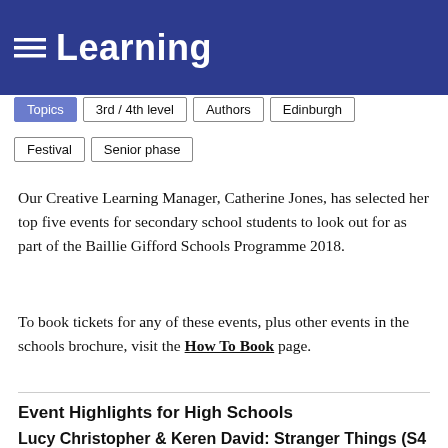Learning
Topics
3rd / 4th level
Authors
Edinburgh
Festival
Senior phase
Our Creative Learning Manager, Catherine Jones, has selected her top five events for secondary school students to look out for as part of the Baillie Gifford Schools Programme 2018.
To book tickets for any of these events, plus other events in the schools brochure, visit the How To Book page.
Event Highlights for High Schools
Lucy Christopher & Keren David: Stranger Things (S4 -